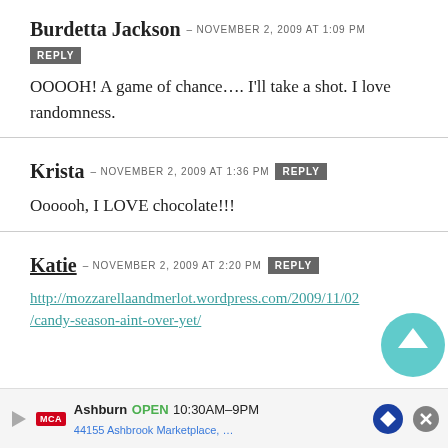Burdetta Jackson – NOVEMBER 2, 2009 at 1:09 PM [REPLY]
OOOOH! A game of chance…. I'll take a shot. I love randomness.
Krista – NOVEMBER 2, 2009 at 1:36 PM [REPLY]
Oooooh, I LOVE chocolate!!!
Katie – NOVEMBER 2, 2009 at 2:20 PM [REPLY]
http://mozzarellaandmerlot.wordpress.com/2009/11/02/candy-season-aint-over-yet/